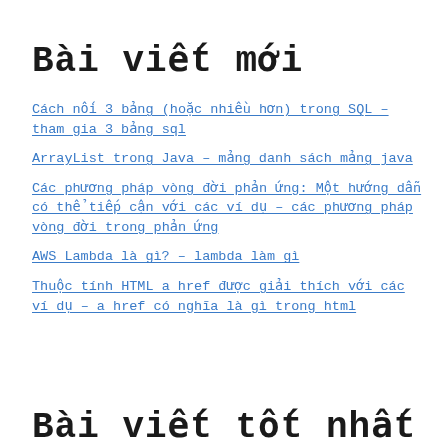Bài viết mới
Cách nối 3 bảng (hoặc nhiều hơn) trong SQL – tham gia 3 bảng sql
ArrayList trong Java – mảng danh sách mảng java
Các phương pháp vòng đời phản ứng: Một hướng dẫn có thể tiếp cận với các ví dụ – các phương pháp vòng đời trong phản ứng
AWS Lambda là gì? – lambda làm gì
Thuộc tính HTML a href được giải thích với các ví dụ – a href có nghĩa là gì trong html
Bài viết tốt nhất